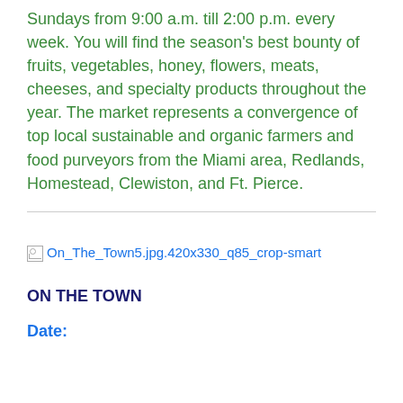Sundays from 9:00 a.m. till 2:00 p.m. every week. You will find the season's best bounty of fruits, vegetables, honey, flowers, meats, cheeses, and specialty products throughout the year. The market represents a convergence of top local sustainable and organic farmers and food purveyors from the Miami area, Redlands, Homestead, Clewiston, and Ft. Pierce.
[Figure (photo): Broken image placeholder showing filename: On_The_Town5.jpg.420x330_q85_crop-smart]
ON THE TOWN
Date: